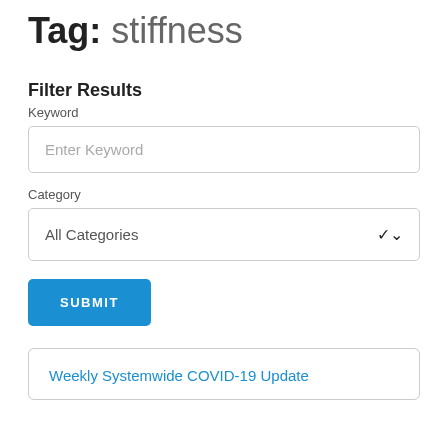Tag: stiffness
Filter Results
Keyword
Enter Keyword
Category
All Categories
SUBMIT
Weekly Systemwide COVID-19 Update